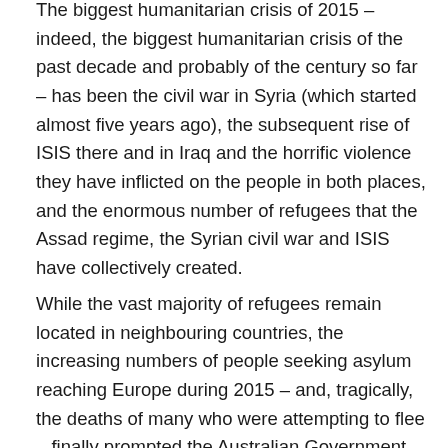The biggest humanitarian crisis of 2015 – indeed, the biggest humanitarian crisis of the past decade and probably of the century so far – has been the civil war in Syria (which started almost five years ago), the subsequent rise of ISIS there and in Iraq and the horrific violence they have inflicted on the people in both places, and the enormous number of refugees that the Assad regime, the Syrian civil war and ISIS have collectively created.
While the vast majority of refugees remain located in neighbouring countries, the increasing numbers of people seeking asylum reaching Europe during 2015 – and, tragically, the deaths of many who were attempting to flee – finally prompted the Australian Government to announce its…